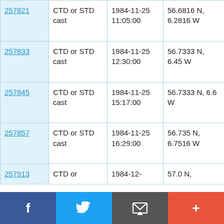| ID | Type | Date | Coordinates | Vessel |
| --- | --- | --- | --- | --- |
| 257821 | CTD or STD cast | 1984-11-25 11:05:00 | 56.6816 N, 6.2816 W | RRS Challenger CH10/84 |
| 257833 | CTD or STD cast | 1984-11-25 12:30:00 | 56.7333 N, 6.45 W | RRS Challenger CH10/84 |
| 257845 | CTD or STD cast | 1984-11-25 15:17:00 | 56.7333 N, 6.6 W | RRS Challenger CH10/84 |
| 257857 | CTD or STD cast | 1984-11-25 16:29:00 | 56.735 N, 6.7516 W | RRS Challenger CH10/84 |
| 257913 | CTD or | 1984-12- | 57.0 N, | RRS |